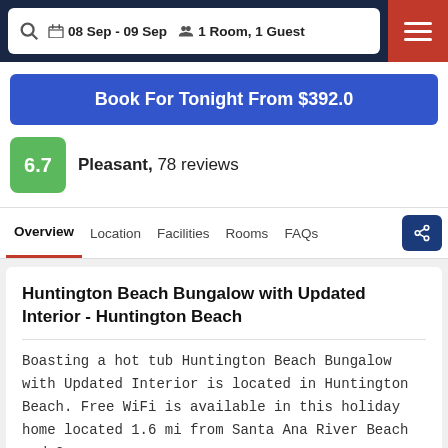08 Sep - 09 Sep  1 Room, 1 Guest
Book For Tonight From $392.0
6.7  Pleasant,  78 reviews
Overview  Location  Facilities  Rooms  FAQs
Huntington Beach Bungalow with Updated Interior - Huntington Beach
Boasting a hot tub Huntington Beach Bungalow with Updated Interior is located in Huntington Beach. Free WiFi is available in this holiday home located 1.6 mi from Santa Ana River Beach and 2.
1 mi from Huntington Beach Pier. This air-conditioned